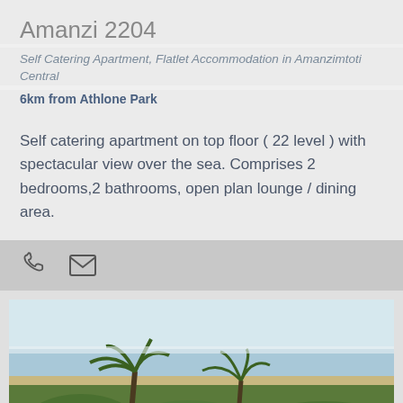Amanzi 2204
Self Catering Apartment, Flatlet Accommodation in Amanzimtoti Central
6km from Athlone Park
Self catering apartment on top floor ( 22 level ) with spectacular view over the sea. Comprises 2 bedrooms,2 bathrooms, open plan lounge / dining area.
[Figure (other): Action bar with phone and email contact icons on grey background]
[Figure (photo): Coastal view from apartment balcony showing beach, sea, palm trees and tropical vegetation with a building facade on the right side]